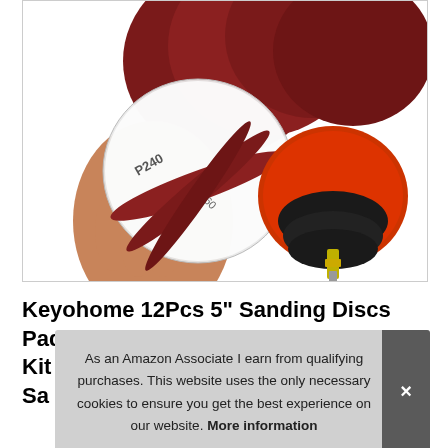[Figure (photo): Product photo showing sanding discs (dark red/maroon circular abrasive pads with grit markings P240, P60, P80, P2xx visible) being held in a hand, and a red/black drill attachment backing pad with metal shaft.]
Keyohome 12Pcs 5" Sanding Discs Pad Kit Sa
As an Amazon Associate I earn from qualifying purchases. This website uses the only necessary cookies to ensure you get the best experience on our website. More information